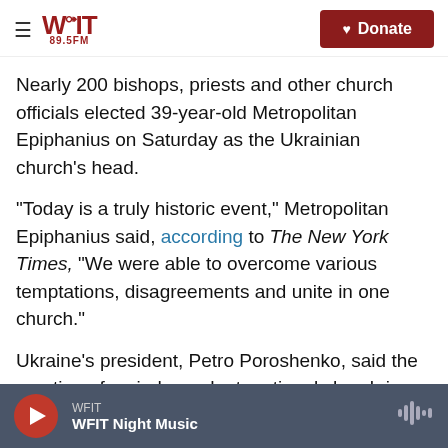WFIT 89.5FM — Donate
Nearly 200 bishops, priests and other church officials elected 39-year-old Metropolitan Epiphanius on Saturday as the Ukrainian church's head.
"Today is a truly historic event," Metropolitan Epiphanius said, according to The New York Times, "We were able to overcome various temptations, disagreements and unite in one church."
Ukraine's president, Petro Poroshenko, said the creation of an independent, national church is essential for national security because Russia is using churches in Ukraine as tools to spread
WFIT — WFIT Night Music